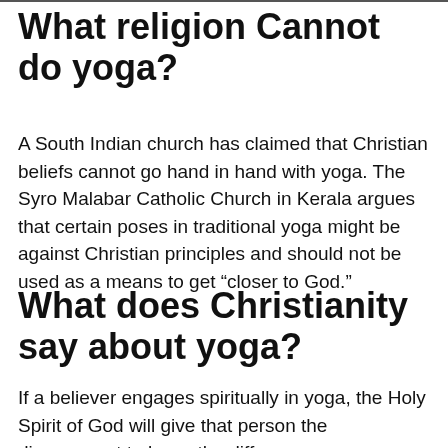What religion Cannot do yoga?
A South Indian church has claimed that Christian beliefs cannot go hand in hand with yoga. The Syro Malabar Catholic Church in Kerala argues that certain poses in traditional yoga might be against Christian principles and should not be used as a means to get “closer to God.”
What does Christianity say about yoga?
If a believer engages spiritually in yoga, the Holy Spirit of God will give that person the discernment to know the differences